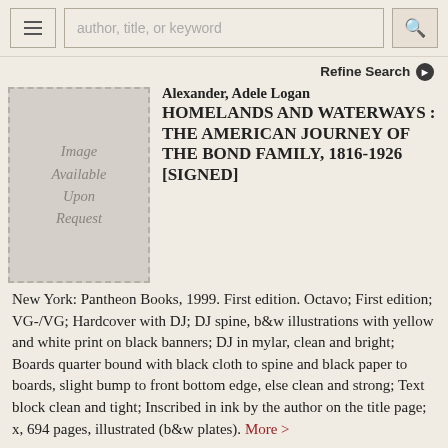author, title, or keyword (search bar)
Refine Search
[Figure (illustration): Grey placeholder box with dotted border reading 'Image Available Upon Request' in italic text]
Alexander, Adele Logan
HOMELANDS AND WATERWAYS : THE AMERICAN JOURNEY OF THE BOND FAMILY, 1816-1926 [SIGNED]
New York: Pantheon Books, 1999. First edition. Octavo; First edition; VG-/VG; Hardcover with DJ; DJ spine, b&w illustrations with yellow and white print on black banners; DJ in mylar, clean and bright; Boards quarter bound with black cloth to spine and black paper to boards, slight bump to front bottom edge, else clean and strong; Text block clean and tight; Inscribed in ink by the author on the title page; x, 694 pages, illustrated (b&w plates). More >